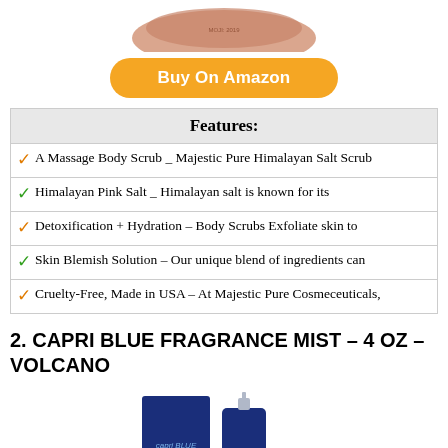[Figure (photo): Top portion of a pink/rose-colored Himalayan Salt Scrub product container]
Buy On Amazon
| Features: |
| --- |
| ✓ A Massage Body Scrub _ Majestic Pure Himalayan Salt Scrub |
| ✓ Himalayan Pink Salt _ Himalayan salt is known for its |
| ✓ Detoxification + Hydration – Body Scrubs Exfoliate skin to |
| ✓ Skin Blemish Solution – Our unique blend of ingredients can |
| ✓ Cruelty-Free, Made in USA – At Majestic Pure Cosmeceuticals, |
2. CAPRI BLUE FRAGRANCE MIST – 4 OZ – VOLCANO
[Figure (photo): Capri Blue fragrance mist product — blue box and blue spray bottle with CB logo]